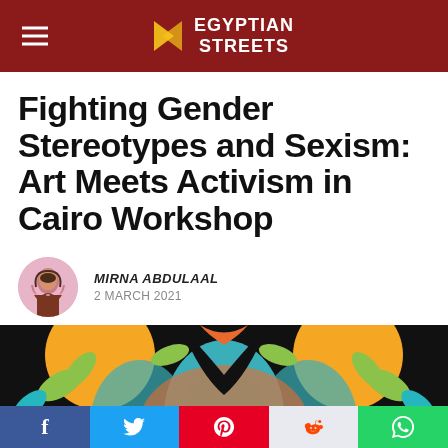EGYPTIAN STREETS
Fighting Gender Stereotypes and Sexism: Art Meets Activism in Cairo Workshop
MIRNA ABDULAAL
2 MARCH 2021
[Figure (illustration): Colorful symmetrical artwork with teal, orange, green and black colors showing an artistic design used as feature image for the article.]
Social share bar: Facebook, Twitter, Pinterest, Reddit, WhatsApp